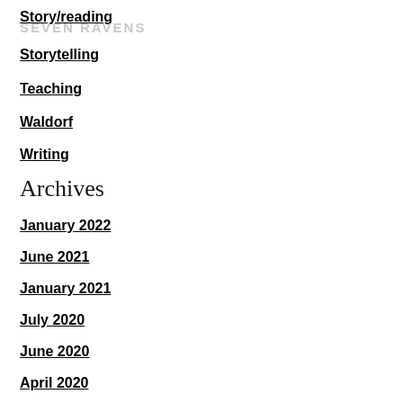Story/reading
SEVEN RAVENS
Storytelling
Teaching
Waldorf
Writing
Archives
January 2022
June 2021
January 2021
July 2020
June 2020
April 2020
February 2020
December 2019
November 2019
October 2019
July 2019
June 2019